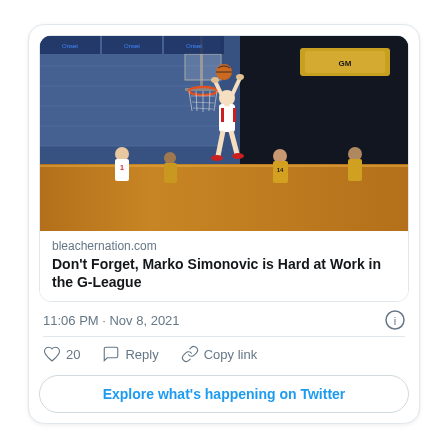[Figure (screenshot): Twitter/social media card showing a basketball game photo. A player in a white jersey is dunking the ball at the rim while other players look on. The arena has blue seats and a wooden court floor. Below the image is a link preview for bleachernation.com.]
bleachernation.com
Don't Forget, Marko Simonovic is Hard at Work in the G-League
11:06 PM · Nov 8, 2021
20
Reply
Copy link
Explore what's happening on Twitter